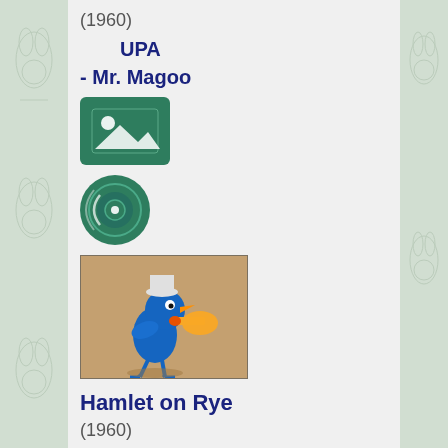(1960)
UPA
- Mr. Magoo
[Figure (illustration): Image placeholder icon with mountain and circle on dark green background]
[Figure (illustration): Record/audio disc icon on dark teal circular background with sound wave arcs]
[Figure (illustration): Film thumbnail showing a blue cartoon bird character playing a trumpet/horn, set against a tan/brown background]
Hamlet on Rye
(1960)
UPA
- Mr. Magoo
[Figure (illustration): Partially visible image placeholder icon at bottom of page]